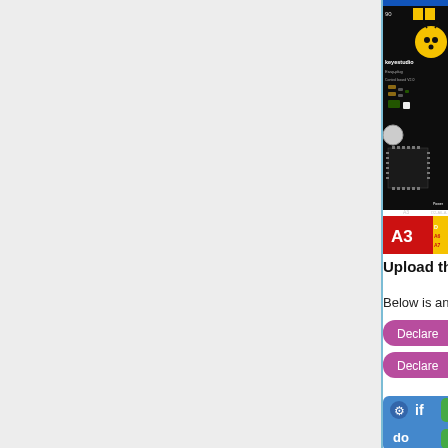[Figure (photo): Keyestudio Easy-plug Control board V2.0 showing analog pins A0, A1, A2, A3 (red connectors) and other components on a black PCB. The board is partially cropped, showing the right portion of the board with yellow and red pin connectors labeled A0, A1, A2, A3, and partially visible A6, A7.]
Upload the Code
Below is an example code.
[Figure (screenshot): Block-based programming code screenshot showing: 'Declare ledPin as int value [...]' and 'Declare Tilt as int value 5' in purple/pink blocks.]
[Figure (screenshot): Block-based programming code screenshot showing an if/do block: 'if Tilt Module [icon] P...' and 'do white LED Pin... led...']